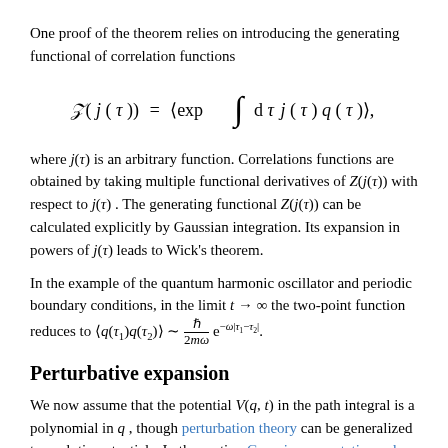One proof of the theorem relies on introducing the generating functional of correlation functions
where j(τ) is an arbitrary function. Correlations functions are obtained by taking multiple functional derivatives of Z(j(τ)) with respect to j(τ). The generating functional Z(j(τ)) can be calculated explicitly by Gaussian integration. Its expansion in powers of j(τ) leads to Wick's theorem.
In the example of the quantum harmonic oscillator and periodic boundary conditions, in the limit t → ∞ the two-point function reduces to ⟨q(τ₁)q(τ₂)⟩ ~ ℏ/(2mω) e^{-ω|τ₁-τ₂|}.
Perturbative expansion
We now assume that the potential V(q, t) in the path integral is a polynomial in q, though perturbation theory can be generalized to analytic potentials. In the section Gaussian expectation values and Wick's theorem it has been shown that Gaussian expectation values can be calculated explicitly: therefore, to evaluate a path integral, a